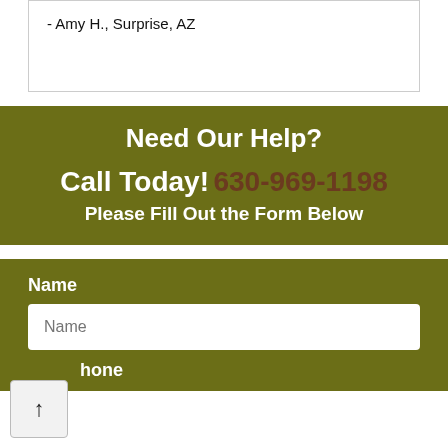- Amy H., Surprise, AZ
Need Our Help?
Call Today! 630-969-1198
Please Fill Out the Form Below
Name
Name
hone